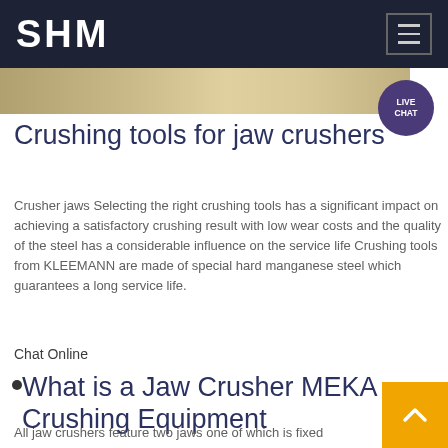SHM
[Figure (photo): Partial image strip showing crushed materials/rock, cropped at top]
Crushing tools for jaw crushers
Crusher jaws Selecting the right crushing tools has a significant impact on achieving a satisfactory crushing result with low wear costs and the quality of the steel has a considerable influence on the service life Crushing tools from KLEEMANN are made of special hard manganese steel which guarantees a long service life.
Chat Online
What is a Jaw Crusher MEKA Crushing Equipment
All jaw crushers feature two jaws one of which is fixed